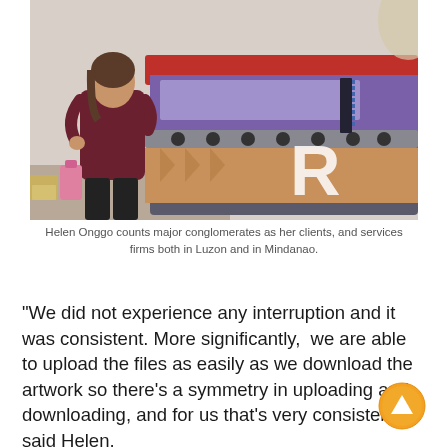[Figure (photo): A person standing in front of a large industrial wide-format printing machine with colorful printed material loaded on it. The machine has red, purple/blue, and tan/orange colors. The person is wearing a dark maroon top and black pants.]
Helen Onggo counts major conglomerates as her clients, and services firms both in Luzon and in Mindanao.
“We did not experience any interruption and it was consistent. More significantly,  we are able to upload the files as easily as we download the artwork so there’s a symmetry in uploading and downloading, and for us that’s very consistent,” said Helen.